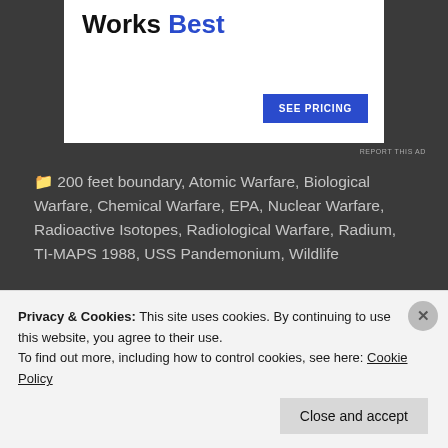[Figure (other): Advertisement banner with text 'Works Best' and a blue 'SEE PRICING' button on white background]
REPORT THIS AD
200 feet boundary, Atomic Warfare, Biological Warfare, Chemical Warfare, EPA, Nuclear Warfare, Radioactive Isotopes, Radiological Warfare, Radium, TI-MAPS 1988, USS Pandemonium, Wildlife
July 7, 2021
Privacy & Cookies: This site uses cookies. By continuing to use this website, you agree to their use.
To find out more, including how to control cookies, see here: Cookie Policy